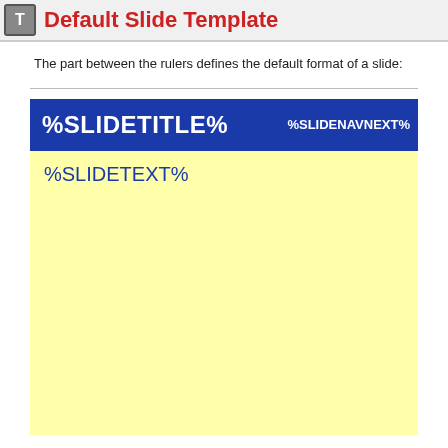Default Slide Template
The part between the rulers defines the default format of a slide:
[Figure (screenshot): A slide template preview showing a dark blue header bar with '%SLIDETITLE%' on the left in white bold text and '%SLIDENAVNEXT%' on the right in white text, and a light yellow body area below with '%SLIDETEXT%' in blue text.]